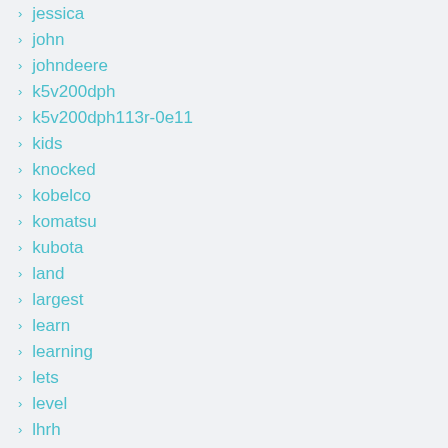jessica
john
johndeere
k5v200dph
k5v200dph113r-0e11
kids
knocked
kobelco
komatsu
kubota
land
largest
learn
learning
lets
level
lhrh
licensed
lichtmaschine